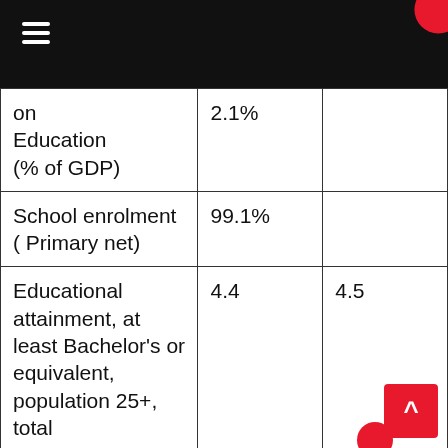≡
| Indicator | Value 1 | Value 2 |
| --- | --- | --- |
| on Education (% of GDP) | 2.1% |  |
| School enrolment ( Primary net) | 99.1% |  |
| Educational attainment, at least Bachelor's or equivalent, population 25+, total | 4.4 | 4.5 |